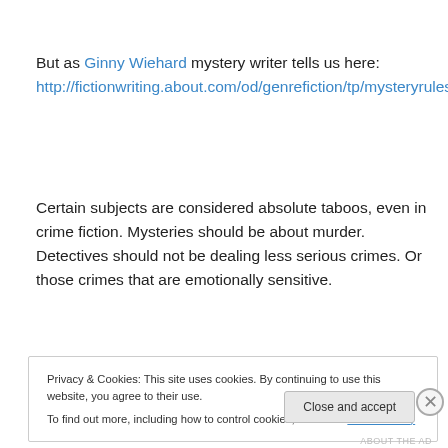But as Ginny Wiehard mystery writer tells us here: http://fictionwriting.about.com/od/genrefiction/tp/mysteryrules.htm
Certain subjects are considered absolute taboos, even in crime fiction. Mysteries should be about murder. Detectives should not be dealing less serious crimes. Or those crimes that are emotionally sensitive.
Privacy & Cookies: This site uses cookies. By continuing to use this website, you agree to their use. To find out more, including how to control cookies, see here: Cookie Policy